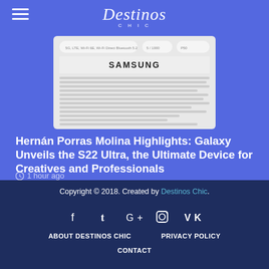Destinos Chic
[Figure (screenshot): Screenshot of a Samsung product specification page showing connectivity specs and Samsung branding with body text]
Hernán Porras Molina Highlights: Galaxy Unveils the S22 Ultra, the Ultimate Device for Creatives and Professionals
1 hour ago
Copyright © 2018. Created by Destinos Chic.
f  ꞇ  G+  ☷  VK
ABOUT DESTINOS CHIC    PRIVACY POLICY
CONTACT